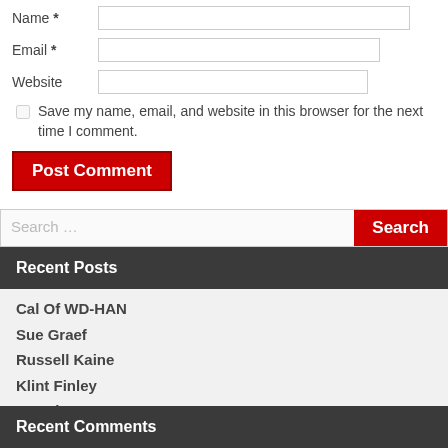Name *
Email *
Website
Save my name, email, and website in this browser for the next time I comment.
Post Comment
Search …
Recent Posts
Cal Of WD-HAN
Sue Graef
Russell Kaine
Klint Finley
Brandon Scott
Recent Comments